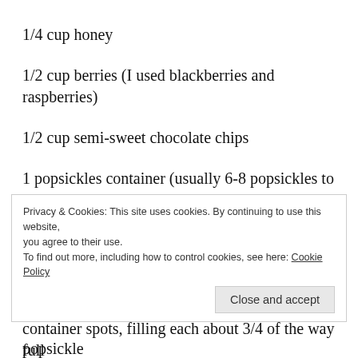1/4 cup honey
1/2 cup berries (I used blackberries and raspberries)
1/2 cup semi-sweet chocolate chips
1 popsickles container (usually 6-8 popsickles to a container)
Mix yogurt and honey. Then stir in the berries and chocolate chips.  Spoon mixture into popsickles container spots, filling each about 3/4 of the way full
Privacy & Cookies: This site uses cookies. By continuing to use this website, you agree to their use.
To find out more, including how to control cookies, see here: Cookie Policy
popsickle